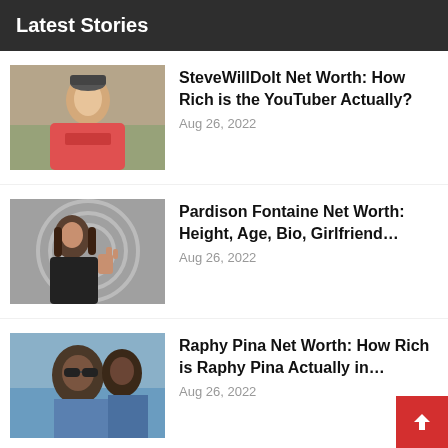Latest Stories
SteveWillDoIt Net Worth: How Rich is the YouTuber Actually? — Aug 26, 2022
Pardison Fontaine Net Worth: Height, Age, Bio, Girlfriend… — Aug 26, 2022
Raphy Pina Net Worth: How Rich is Raphy Pina Actually in… — Aug 26, 2022
Jimmie Walker Net Worth, Age, Bio, Wife, and Kids — Aug 25, 2022
Yo Gotti Net Worth: How Rich is the Rapper Actually in 2022?